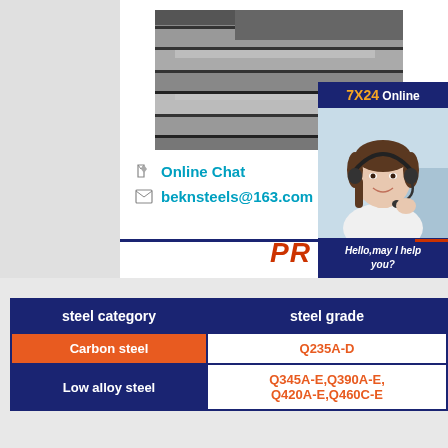[Figure (photo): Stack of steel plates/sheets in a warehouse, dark metallic surfaces visible]
[Figure (other): Online chat widget with 7X24 Online header, photo of woman with headset, Hello may I help you? text, and Get Latest Price button]
Online Chat
beknsteels@163.com
PR
| steel category | steel grade |
| --- | --- |
| Carbon steel | Q235A-D |
| Low alloy steel | Q345A-E,Q390A-E,
Q420A-E,Q460C-E |